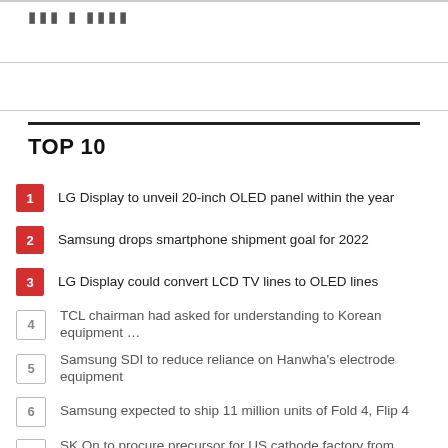TOP 10 news list header area
TOP 10
1 LG Display to unveil 20-inch OLED panel within the year
2 Samsung drops smartphone shipment goal for 2022
3 LG Display could convert LCD TV lines to OLED lines
4 TCL chairman had asked for understanding to Korean equipment …
5 Samsung SDI to reduce reliance on Hanwha's electrode equipment
6 Samsung expected to ship 11 million units of Fold 4, Flip 4
7 SK On to procure precursor for US cathode factory from Chinese …
8 LX Semicon forms team dedicated to automotive DDI
9 Moon to procure … production of 110 milli…